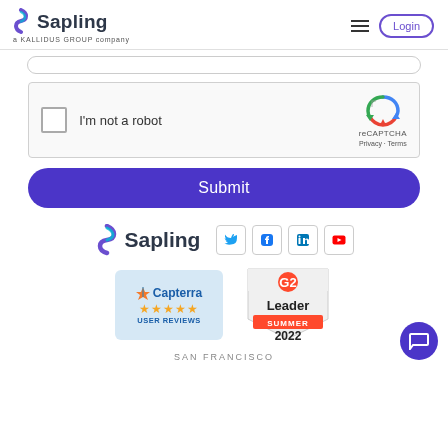[Figure (logo): Sapling logo — colorful S icon with 'Sapling' text and 'a KALLIDUS GROUP company' subtitle]
Login
[Figure (screenshot): reCAPTCHA widget with checkbox labeled 'I'm not a robot']
Submit
[Figure (logo): Sapling footer logo with social media icons (Twitter, Facebook, LinkedIn, YouTube)]
[Figure (logo): Capterra badge showing star rating and USER REVIEWS]
[Figure (logo): G2 Leader Summer 2022 badge]
SAN FRANCISCO